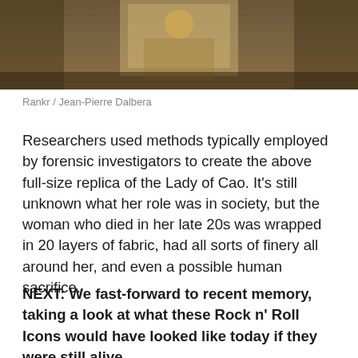[Figure (photo): Photo of a reconstructed figure or artifact, showing warm amber and brown tones suggesting an indoor museum or archaeological display setting.]
Rankr / Jean-Pierre Dalbera
Researchers used methods typically employed by forensic investigators to create the above full-size replica of the Lady of Cao. It's still unknown what her role was in society, but the woman who died in her late 20s was wrapped in 20 layers of fabric, had all sorts of finery all around her, and even a possible human sacrifice.
NEXT: We fast-forward to recent memory, taking a look at what these Rock n' Roll Icons would have looked like today if they were still alive...